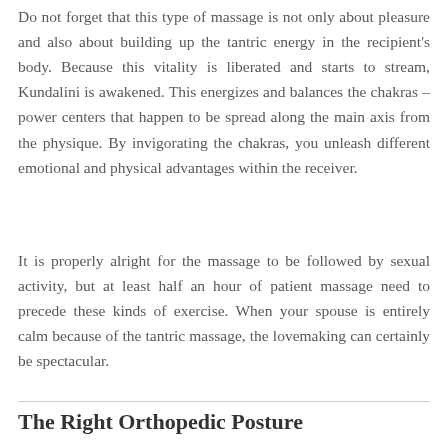Do not forget that this type of massage is not only about pleasure and also about building up the tantric energy in the recipient's body. Because this vitality is liberated and starts to stream, Kundalini is awakened. This energizes and balances the chakras – power centers that happen to be spread along the main axis from the physique. By invigorating the chakras, you unleash different emotional and physical advantages within the receiver.
It is properly alright for the massage to be followed by sexual activity, but at least half an hour of patient massage need to precede these kinds of exercise. When your spouse is entirely calm because of the tantric massage, the lovemaking can certainly be spectacular.
The Right Orthopedic Posture